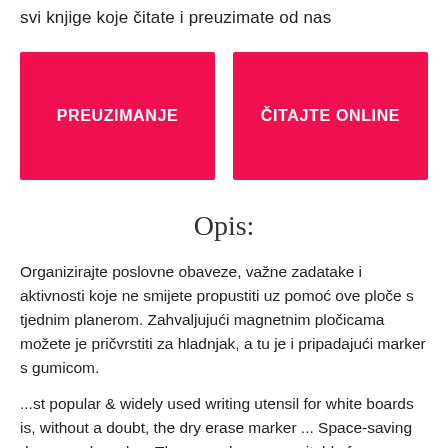svi knjige koje čitate i preuzimate od nas
PREUZIMANJE
ČITAJTE ONLINE
Opis:
Organizirajte poslovne obaveze, važne zadatake i aktivnosti koje ne smijete propustiti uz pomoć ove ploče s tjednim planerom. Zahvaljujući magnetnim pločicama možete je pričvrstiti za hladnjak, a tu je i pripadajući marker s gumicom.
...st popular & widely used writing utensil for white boards is, without a doubt, the dry erase marker ... Space-saving dry-erase board .... These markers are suitable for any type of whiteboard, overhead... Shop for Whiteboards & Dry Erase Boards in Office Supplies.